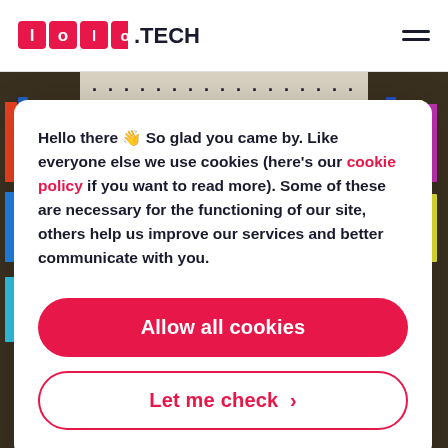[Figure (logo): lolo.TECH logo — red rounded square boxes containing letter characters for 'lolo', followed by '.TECH' in bold dark text]
[Figure (screenshot): Cookie consent modal overlay on a website showing library bookshelf background. Contains cookie policy text, an 'Allow all cookies' red button, and a 'Let me check >' outlined button.]
Hello there 👋 So glad you came by. Like everyone else we use cookies (here's our cookie policy if you want to read more). Some of these are necessary for the functioning of our site, others help us improve our services and better communicate with you.